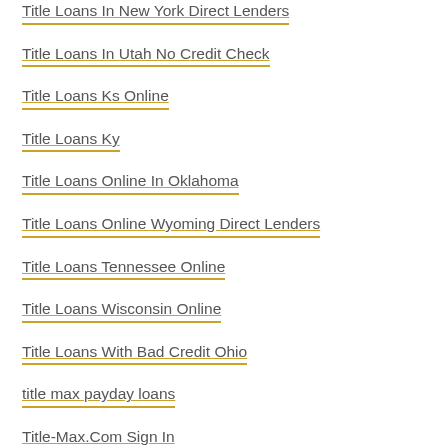Title Loans In New York Direct Lenders
Title Loans In Utah No Credit Check
Title Loans Ks Online
Title Loans Ky
Title Loans Online In Oklahoma
Title Loans Online Wyoming Direct Lenders
Title Loans Tennessee Online
Title Loans Wisconsin Online
Title Loans With Bad Credit Ohio
title max payday loans
Title-Max.Com Sign In
titlemax application
together2night app